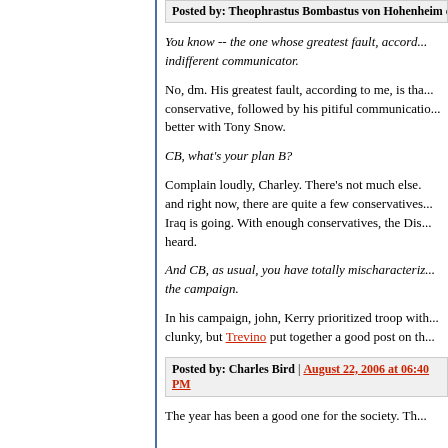Posted by: Theophrastus Bombastus von Hohenheim den...
You know -- the one whose greatest fault, accord... indifferent communicator.
No, dm. His greatest fault, according to me, is tha... conservative, followed by his pitiful communicatio... better with Tony Snow.
CB, what's your plan B?
Complain loudly, Charley. There's not much else. ... and right now, there are quite a few conservatives... Iraq is going. With enough conservatives, the Dis... heard.
And CB, as usual, you have totally mischaracteriz... the campaign.
In his campaign, john, Kerry prioritized troop with... clunky, but Trevino put together a good post on th...
Posted by: Charles Bird | August 22, 2006 at 06:40 PM
The year has been a good one for the society. Th...